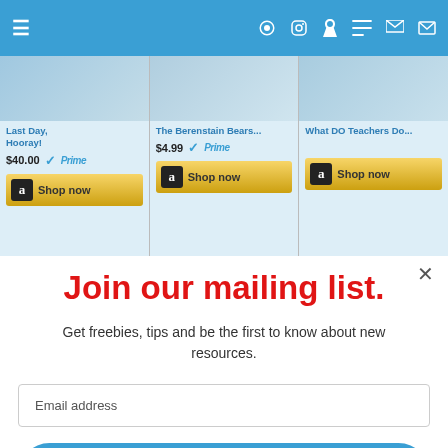[Figure (screenshot): Website navigation bar with hamburger menu and social media icons (Facebook, Instagram, Pinterest, Twitter, cart, email)]
[Figure (screenshot): Amazon product listing strip showing three books: 'Last Day, Hooray!' at $40.00 with Prime, 'The Berenstain Bears...' at $4.99 with Prime, and 'What DO Teachers Do...' each with 'Shop now' Amazon buttons]
Join our mailing list.
Get freebies, tips and be the first to know about new resources.
Email address
Subscribe